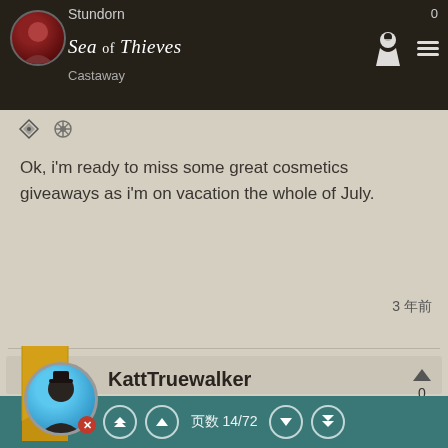Sea of Thieves — Stundorn — Castaway
Ok, i'm ready to miss some great cosmetics giveaways as i'm on vacation the whole of July.
3 年前
KattTruewalker — Champion
页数 14/72